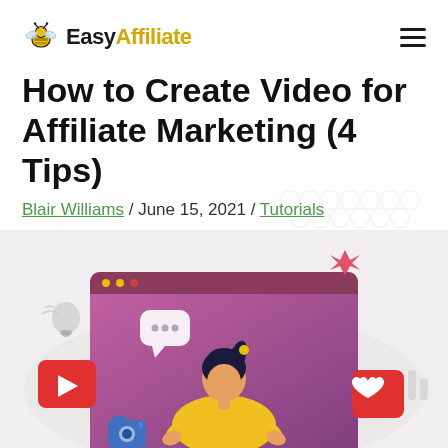Easy Affiliate
How to Create Video for Affiliate Marketing (4 Tips)
Blair Williams / June 15, 2021 / Tutorials
[Figure (illustration): Illustration of a woman with dark hair in a yellow sweater presenting inside a browser-style video frame, surrounded by social media icons including a play button, chat bubble, heart notification, camera, and decorative stars/arrows on a light background with hexagon pattern.]